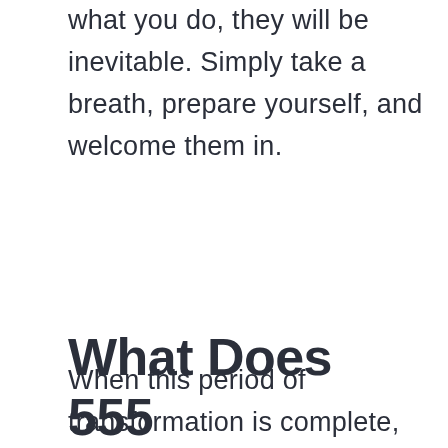what you do, they will be inevitable. Simply take a breath, prepare yourself, and welcome them in.
When this period of transformation is complete, you will feel like a new person. Welcome this new step in your life path!
What Does 555